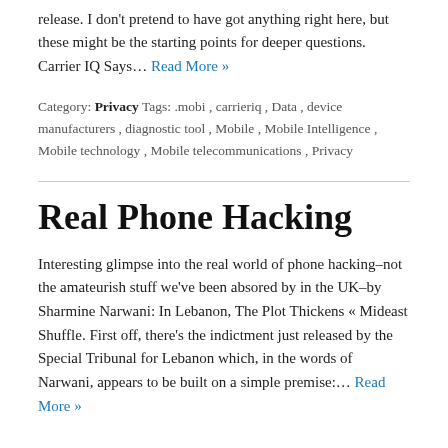release. I don't pretend to have got anything right here, but these might be the starting points for deeper questions. Carrier IQ Says… Read More »
Category: Privacy Tags: .mobi , carrieriq , Data , device manufacturers , diagnostic tool , Mobile , Mobile Intelligence , Mobile technology , Mobile telecommunications , Privacy
Real Phone Hacking
Interesting glimpse into the real world of phone hacking–not the amateurish stuff we've been absored by in the UK–by Sharmine Narwani: In Lebanon, The Plot Thickens « Mideast Shuffle. First off, there's the indictment just released by the Special Tribunal for Lebanon which, in the words of Narwani, appears to be built on a simple premise:… Read More »